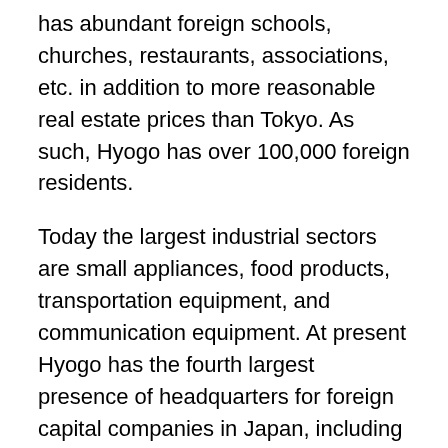has abundant foreign schools, churches, restaurants, associations, etc. in addition to more reasonable real estate prices than Tokyo. As such, Hyogo has over 100,000 foreign residents.
Today the largest industrial sectors are small appliances, food products, transportation equipment, and communication equipment. At present Hyogo has the fourth largest presence of headquarters for foreign capital companies in Japan, including Procter & Gamble Japan K.K. Nestlé Japan, Ltd., Ely Lilly Japan K.K., etc. Agriculture, fisheries and forestry are also a big part of the local economy with the area's most famous product being Kobe beef, the original wagyu, which are cows fed beer and rice, massaged and given little exercise and now emulated in most other Japanese prefectures under the name wagyu or